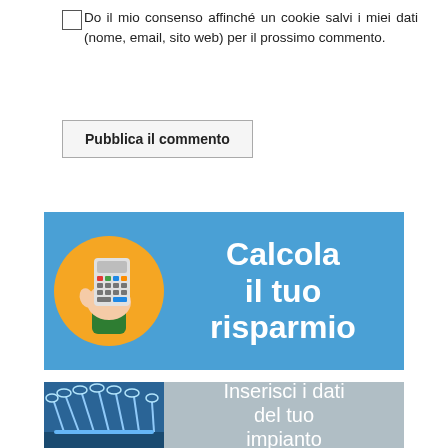Do il mio consenso affinché un cookie salvi i miei dati (nome, email, sito web) per il prossimo commento.
Pubblica il commento
[Figure (illustration): Blue banner with orange circle containing a hand holding a calculator, and white bold text reading 'Calcola il tuo risparmio']
[Figure (illustration): Grey banner with a photo of industrial sprinkler equipment on the left, and white text reading 'Inserisci i dati del tuo impianto']